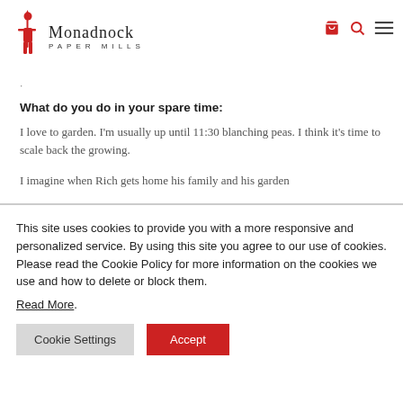Monadnock Paper Mills
·
What do you do in your spare time:
I love to garden. I'm usually up until 11:30 blanching peas. I think it's time to scale back the growing.
I imagine when Rich gets home his family and his garden
This site uses cookies to provide you with a more responsive and personalized service. By using this site you agree to our use of cookies. Please read the Cookie Policy for more information on the cookies we use and how to delete or block them.
Read More.
Cookie Settings  Accept